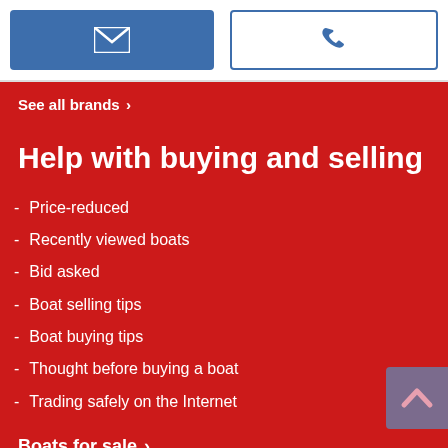[Figure (other): Email button (blue filled) and phone button (white with blue border) side by side]
See all brands >
Help with buying and selling
Price-reduced
Recently viewed boats
Bid asked
Boat selling tips
Boat buying tips
Thought before buying a boat
Trading safely on the Internet
Boats for sale >